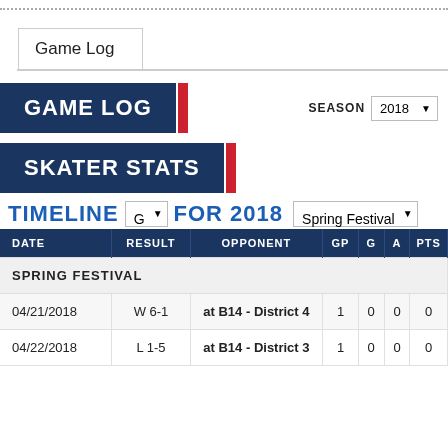Game Log
GAME LOG
SEASON 2018
SKATER STATS
TIMELINE G FOR 2018 Spring Festival
| DATE | RESULT | OPPONENT | GP | G | A | PTS |
| --- | --- | --- | --- | --- | --- | --- |
| SPRING FESTIVAL |  |  |  |  |  |  |
| 04/21/2018 | W 6-1 | at B14 - District 4 | 1 | 0 | 0 | 0 |
| 04/22/2018 | L 1-5 | at B14 - District 3 | 1 | 0 | 0 | 0 |